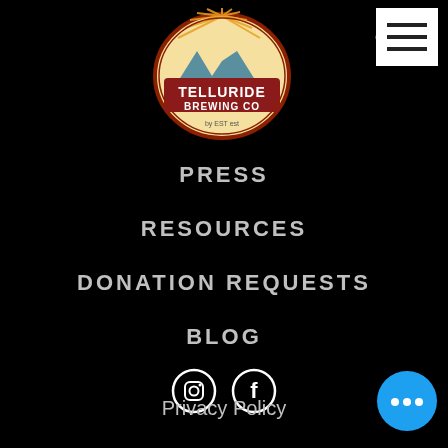[Figure (logo): Telluride Brewing Co logo - oval shape with sunburst, mountains, and red banner with white text]
[Figure (other): White hamburger menu button (three horizontal lines) on white background in top right]
OUR TEA...
PRESS
RESOURCES
DONATION REQUESTS
BLOG
[Figure (other): Instagram and Facebook social media icons as white outlined circles on black background]
Privacy Policy
[Figure (other): Blue circular chat button with three dots in bottom right corner]